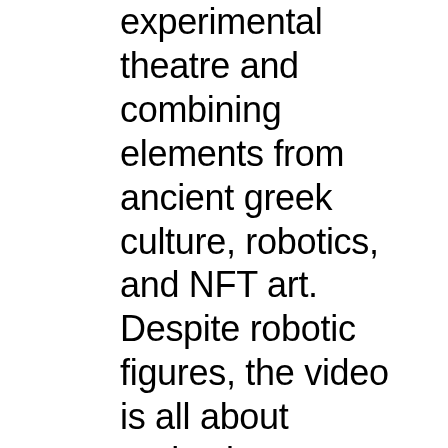experimental theatre and combining elements from ancient greek culture, robotics, and NFT art. Despite robotic figures, the video is all about projecting humanity through technology. The performance is divided into three main scenes and they all manifest a particular feature of human socialization. Serena Tabacchi, the curator of the exhibition, asked me to create a piece inspired by a dystopian vision of the future and I think this artwork was perfect to convey this...